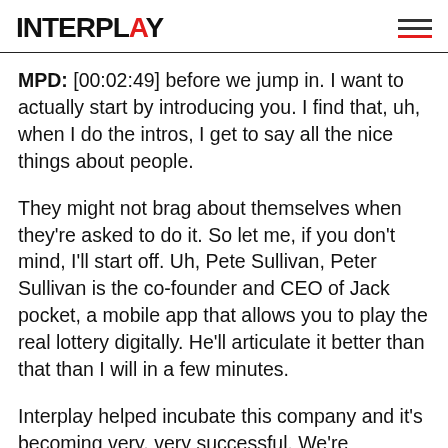INTERPLAY
MPD: [00:02:49] before we jump in. I want to actually start by introducing you. I find that, uh, when I do the intros, I get to say all the nice things about people.
They might not brag about themselves when they're asked to do it. So let me, if you don't mind, I'll start off. Uh, Pete Sullivan, Peter Sullivan is the co-founder and CEO of Jack pocket, a mobile app that allows you to play the real lottery digitally. He'll articulate it better than that than I will in a few minutes.
Interplay helped incubate this company and it's becoming very, very successful. We're